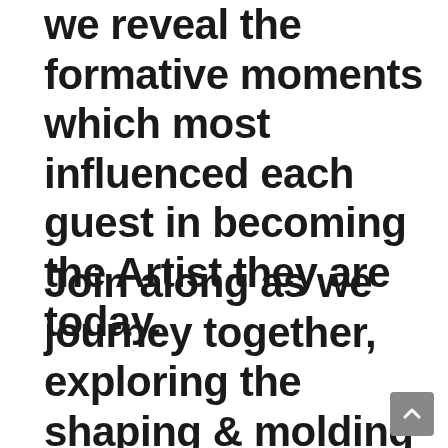we reveal the formative moments which most influenced each guest in becoming the Artist they are today.
Join along as we journey together, exploring the shaping & molding of each influential Artist's life & craft...one moment